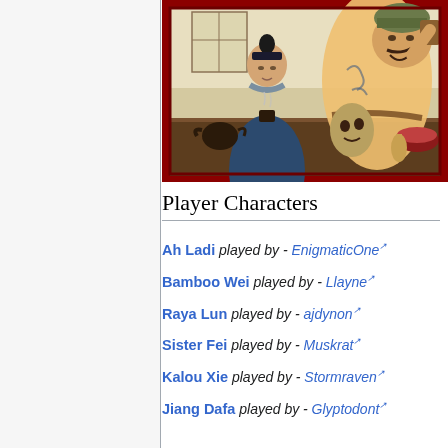[Figure (illustration): Illustrated artwork showing two characters at a counter or table in an Asian-style setting. A slender figure with a black topknot holds a steaming cup, wearing a dark robe. To the right, a large, heavyset tattooed man drinks from a vessel. Various objects including a teapot, a mask, and a bowl of food are on the counter. A window with paper panes is in the background. The image has a dark red border frame.]
Player Characters
Ah Ladi played by - EnigmaticOne
Bamboo Wei played by - Llayne
Raya Lun played by - ajdynon
Sister Fei played by - Muskrat
Kalou Xie played by - Stormraven
Jiang Dafa played by - Glyptodont